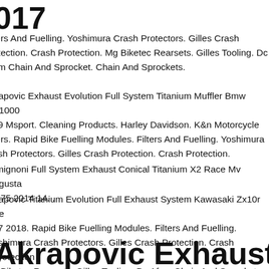017
ters And Fuelling. Yoshimura Crash Protectors. Gilles Crash otection. Crash Protection. Mg Biketec Rearsets. Gilles Tooling. Dc am Chain And Sprocket. Chain And Sprockets.
trapovic Exhaust Evolution Full System Titanium Muffler Bmw S1000 19 Msport. Cleaning Products. Harley Davidson. K&n Motorcycle ters. Rapid Bike Fuelling Modules. Filters And Fuelling. Yoshimura ash Protectors. Gilles Crash Protection. Crash Protection.
rmignoni Full System Exhaust Conical Titanium X2 Race Mv Agusta 675 2014 14. .
trapovic Titanium Evolution Full Exhaust System Kawasaki Zx10r Se 17 2018. Rapid Bike Fuelling Modules. Filters And Fuelling. oshimura Crash Protectors. Gilles Crash Protection. Crash Protection g Biketec Rearsets. Gilles Tooling. Dc Afam Chain And Sprocket.
Akrapovic Exhaust Black Titanium Sli